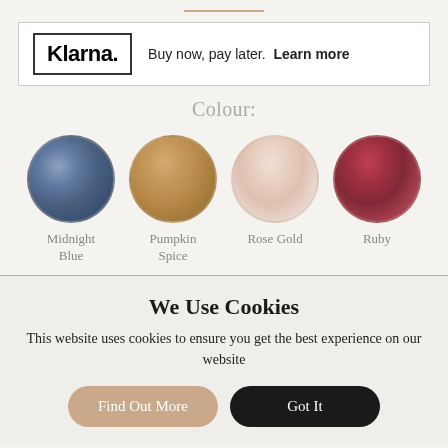[Figure (logo): Klarna logo in a bordered box with text: Buy now, pay later. Learn more]
Colour:
[Figure (illustration): Four circular fabric swatch images: Midnight Blue (blue-grey satin), Pumpkin Spice (tan/gold satin), Rose Gold (pale pink satin), Ruby (dark red satin)]
Midnight Blue
Pumpkin Spice
Rose Gold
Ruby
We Use Cookies
This website uses cookies to ensure you get the best experience on our website
Find Out More
Got It